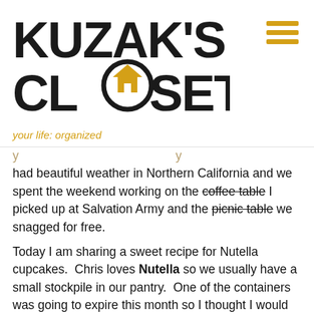[Figure (logo): Kuzak's Closet logo with house icon inside letter O, tagline 'your life: organized' in gold, and hamburger menu icon in gold on the right]
had beautiful weather in Northern California and we spent the weekend working on the coffee table I picked up at Salvation Army and the picnic table we snagged for free.
Today I am sharing a sweet recipe for Nutella cupcakes. Chris loves Nutella so we usually have a small stockpile in our pantry. One of the containers was going to expire this month so I thought I would try baking with it to use it up. I Googled recipes for cookies and cakes but this recipe from a blog called Piece of Cake won me over.
I mixed them up and baked them off after work last Wednesday so we could have them as dessert with dinner. They were so good I packed them up and sent them to work